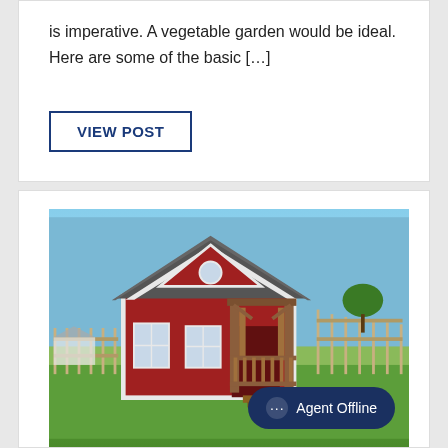is imperative. A vegetable garden would be ideal. Here are some of the basic […]
VIEW POST
[Figure (photo): A red wooden shed/playhouse with a gabled roof featuring a circular window, white trim, wooden porch with railings and timber post pergola, set on green grass with a white fence and open field in the background under a blue sky.]
Agent Offline